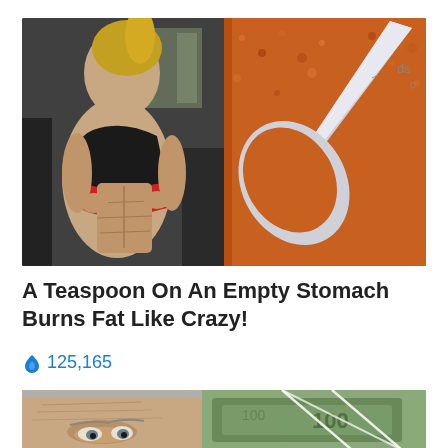[Figure (photo): Split image: left side shows a fit woman in a gym lifting her top to show defined abs; right side shows a metal spoon filled with reddish-brown spice powder on a bed of the same spice.]
A Teaspoon On An Empty Stomach Burns Fat Like Crazy!
🔥 125,165
[Figure (photo): Partial image showing an elderly man's face on the left and US dollar bills on the right with white geometric overlay lines.]